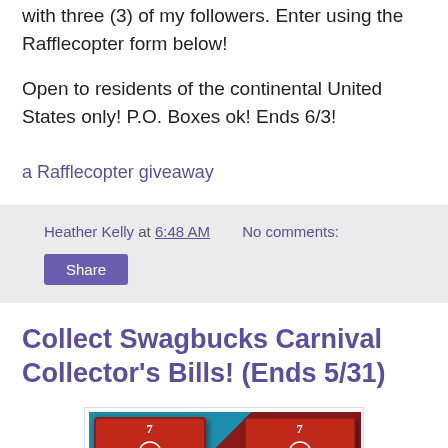with three (3) of my followers. Enter using the Rafflecopter form below!
Open to residents of the continental United States only! P.O. Boxes ok! Ends 6/3!
a Rafflecopter giveaway
Heather Kelly at 6:48 AM   No comments:
Share
Collect Swagbucks Carnival Collector's Bills! (Ends 5/31)
[Figure (photo): Two red Swagbucks Carnival Collector's Bills showing the number 7 and the text SEVEN swag bucks, on a teal background]